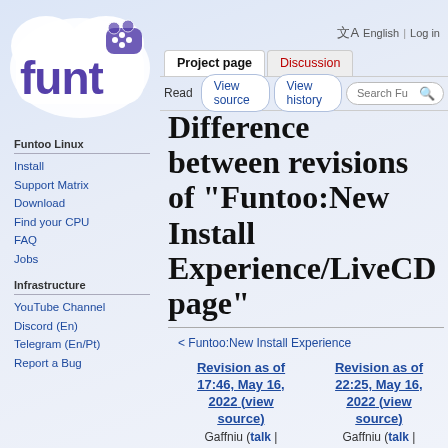[Figure (logo): Funtoo Linux logo - white cloud-like shape with purple 'funt' text and controller icon]
English | Log in
Project page | Discussion | Read | View source | View history | Search Fu
Difference between revisions of "Funtoo:New Install Experience/LiveCD page"
< Funtoo:New Install Experience
Funtoo Linux
Install
Support Matrix
Download
Find your CPU
FAQ
Jobs
Infrastructure
YouTube Channel
Discord (En)
Telegram (En/Pt)
Report a Bug
| Revision as of 17:46, May 16, 2022 (view source) | Revision as of 22:25, May 16, 2022 (view source) |
| --- | --- |
| Gaffniu (talk | | Gaffniu (talk | |